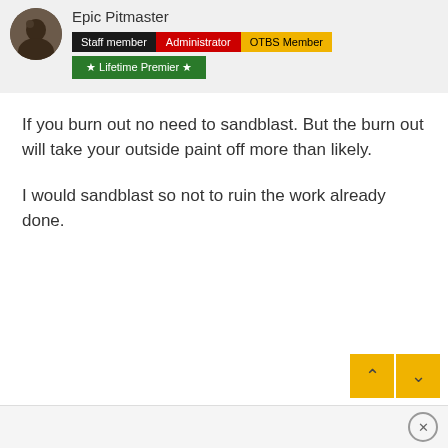[Figure (photo): User avatar photo - circular dark brown/grey profile picture]
Epic Pitmaster
Staff member | Administrator | OTBS Member
★ Lifetime Premier ★
If you burn out no need to sandblast. But the burn out will take your outside paint off more than likely.
I would sandblast so not to ruin the work already done.